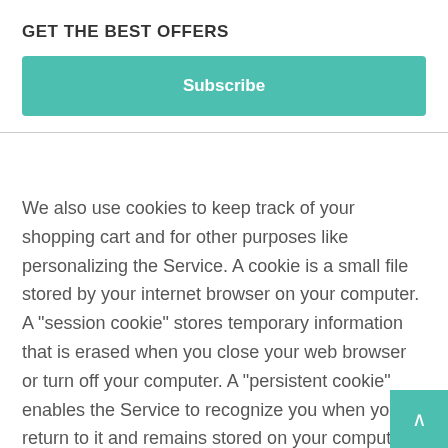GET THE BEST OFFERS
Subscribe
We also use cookies to keep track of your shopping cart and for other purposes like personalizing the Service. A cookie is a small file stored by your internet browser on your computer. A "session cookie" stores temporary information that is erased when you close your web browser or turn off your computer. A "persistent cookie" enables the Service to recognize you when you return to it and remains stored on your computer until you delete it. Your web browser is usually set up to initially accept cookies. If you set your browser to reject cookies, the Service will not be able